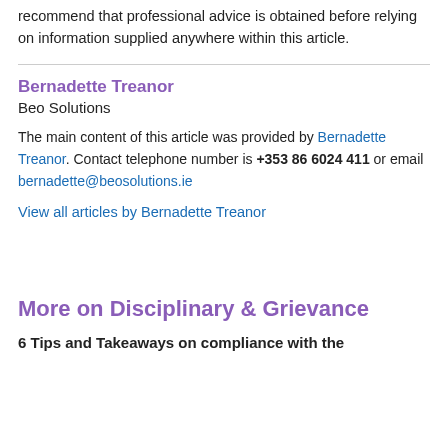recommend that professional advice is obtained before relying on information supplied anywhere within this article.
Bernadette Treanor
Beo Solutions
The main content of this article was provided by Bernadette Treanor. Contact telephone number is +353 86 6024 411 or email bernadette@beosolutions.ie
View all articles by Bernadette Treanor
More on Disciplinary & Grievance
6 Tips and Takeaways on compliance with the